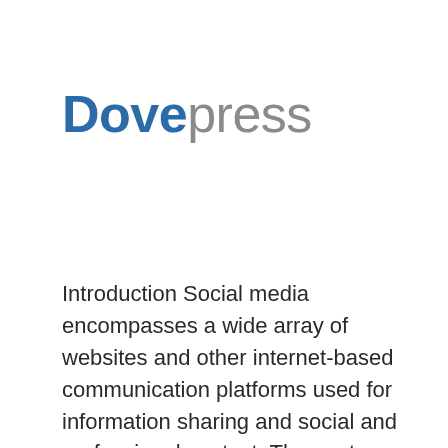[Figure (logo): Dovepress logo: 'Dove' in bold blue and 'press' in grey, large serif-like sans-serif font]
Introduction Social media encompasses a wide array of websites and other internet-based communication platforms used for information sharing and social and professional contact. The past decade has been marked by a rapid rise in popularity of many social media platforms, with more than